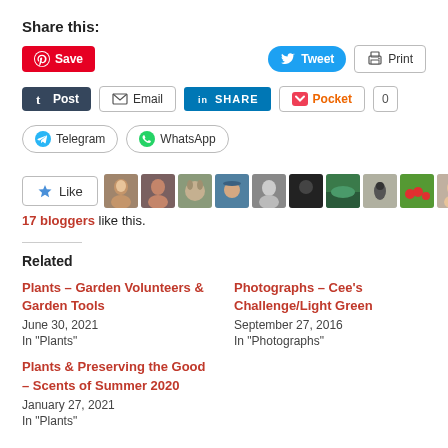Share this:
Save | Tweet | Print | Post | Email | SHARE | Pocket | 0 | Telegram | WhatsApp
[Figure (infographic): Like button with star icon followed by row of 10 blogger avatar thumbnails]
17 bloggers like this.
Related
Plants – Garden Volunteers & Garden Tools
June 30, 2021
In "Plants"
Photographs – Cee's Challenge/Light Green
September 27, 2016
In "Photographs"
Plants & Preserving the Good – Scents of Summer 2020
January 27, 2021
In "Plants"